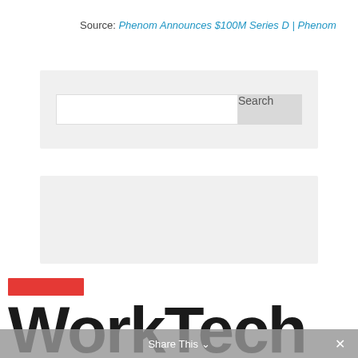Source: Phenom Announces $100M Series D | Phenom
[Figure (screenshot): Search widget with text input field and Search button on a light grey background]
[Figure (screenshot): Secondary sidebar content area, light grey background block]
[Figure (logo): Red bar accent above WorkTech logo text in bold black lettering]
Share This